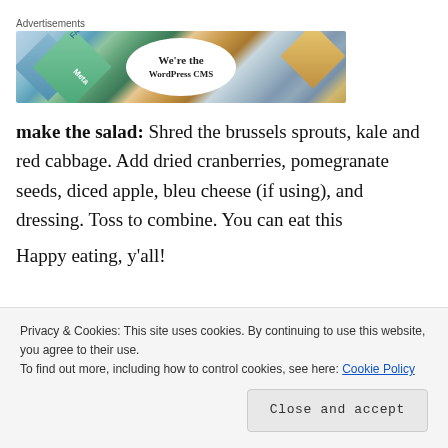Advertisements
[Figure (photo): Advertisement banner image showing colorful diamond shapes with Meta and FACEBOOK labels, and an oval in the center with text 'We're the WordPress CMS']
make the salad: Shred the brussels sprouts, kale and red cabbage. Add dried cranberries, pomegranate seeds, diced apple, bleu cheese (if using), and dressing. Toss to combine. You can eat this
Happy eating, y'all!
Privacy & Cookies: This site uses cookies. By continuing to use this website, you agree to their use.
To find out more, including how to control cookies, see here: Cookie Policy